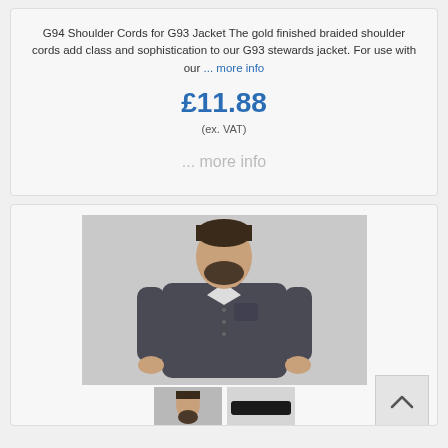G94 Shoulder Cords for G93 Jacket The gold finished braided shoulder cords add class and sophistication to our G93 stewards jacket. For use with our ... more info
£11.88
(ex. VAT)
... more info
[Figure (photo): Man wearing a dark grey long-sleeve shirt, looking downward, with a beard, shown from waist up against a light grey background. Two thumbnail images below: one showing the man's face/upper body, one showing what appears to be a dark accessory item.]